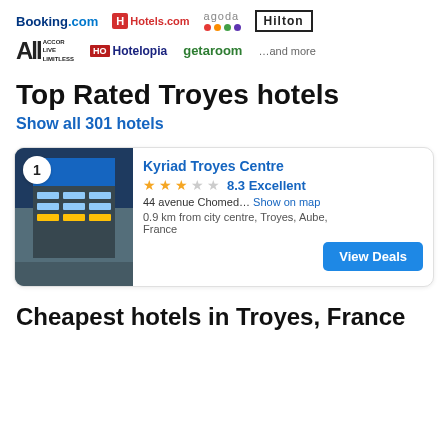[Figure (logo): Partner logos row 1: Booking.com, Hotels.com, agoda, Hilton]
[Figure (logo): Partner logos row 2: ALL Accor Live Limitless, Hotelopia, getaroom, ...and more]
Top Rated Troyes hotels
Show all 301 hotels
[Figure (photo): Hotel building exterior photo with ranking badge number 1]
Kyriad Troyes Centre
★★★☆☆ 8.3 Excellent
44 avenue Chomed... Show on map
0.9 km from city centre, Troyes, Aube, France
Cheapest hotels in Troyes, France